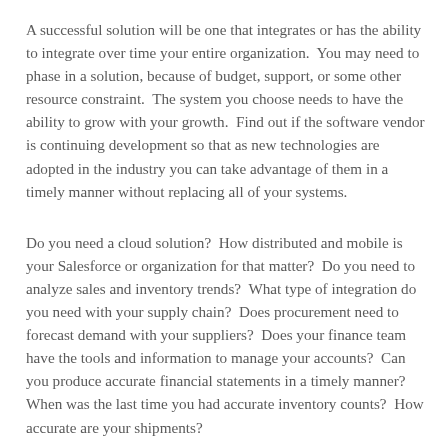A successful solution will be one that integrates or has the ability to integrate over time your entire organization.  You may need to phase in a solution, because of budget, support, or some other resource constraint.  The system you choose needs to have the ability to grow with your growth.  Find out if the software vendor is continuing development so that as new technologies are adopted in the industry you can take advantage of them in a timely manner without replacing all of your systems.
Do you need a cloud solution?  How distributed and mobile is your Salesforce or organization for that matter?  Do you need to analyze sales and inventory trends?  What type of integration do you need with your supply chain?  Does procurement need to forecast demand with your suppliers?  Does your finance team have the tools and information to manage your accounts?  Can you produce accurate financial statements in a timely manner?  When was the last time you had accurate inventory counts?  How accurate are your shipments?